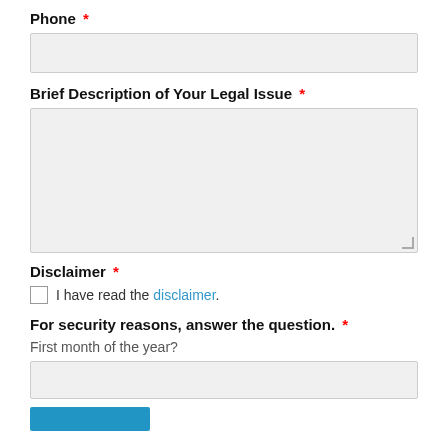Phone *
Brief Description of Your Legal Issue *
Disclaimer *
I have read the disclaimer.
For security reasons, answer the question. *
First month of the year?